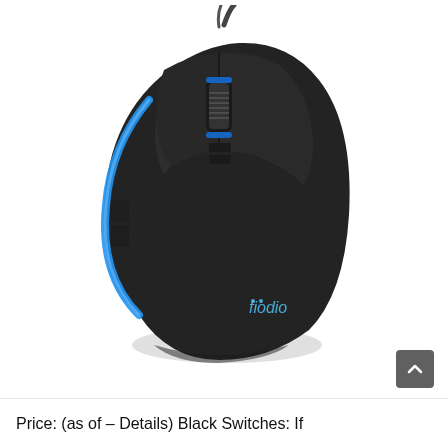[Figure (photo): A black gaming mouse with blue LED accent lighting along the left side and scroll wheel area. The mouse has a wired connection visible at the top. The brand name 'fiodio' is printed in blue on the lower right side of the mouse. The mouse is photographed at an angle against a white background.]
Price: (as of – Details) Black Switches: If